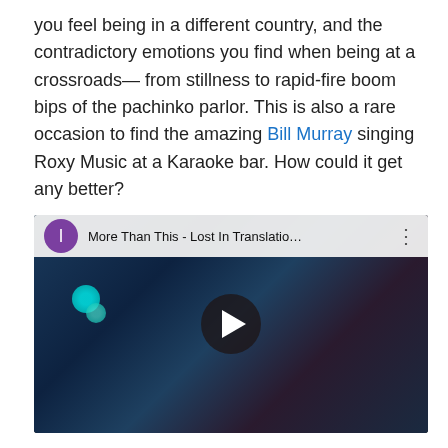you feel being in a different country, and the contradictory emotions you find when being at a crossroads— from stillness to rapid-fire boom bips of the pachinko parlor. This is also a rare occasion to find the amazing Bill Murray singing Roxy Music at a Karaoke bar. How could it get any better?
[Figure (screenshot): Embedded YouTube video thumbnail showing a man singing into a microphone at a karaoke bar in a dark, blue-lit room. The video bar at the top shows a purple play icon and the title 'More Than This - Lost In Translatio…' with a three-dot menu icon.]